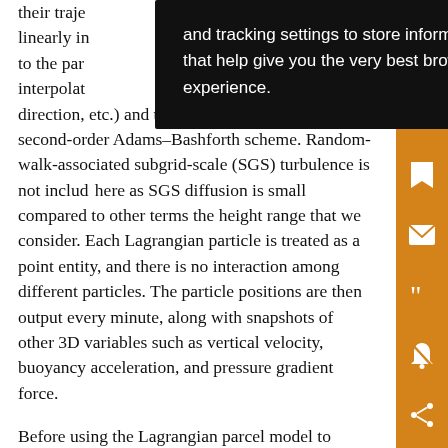their trajectories, we first linearly interpolated the velocity to the particle position (interpolation in the x direction, etc.) and then integrating using the second-order Adams–Bashforth scheme. Random-walk-associated subgrid-scale (SGS) turbulence is not included here as SGS diffusion is small compared to other terms in the height range that we consider. Each Lagrangian particle is treated as a point entity, and there is no interaction among different particles. The particle positions are then output every minute, along with snapshots of other 3D variables such as vertical velocity, buoyancy acceleration, and pressure gradient force.
Before using the Lagrangian parcel model to diagnose
[Figure (screenshot): Black tooltip/popup overlay with white text reading: 'and tracking settings to store information that help give you the very best browsing experience.']